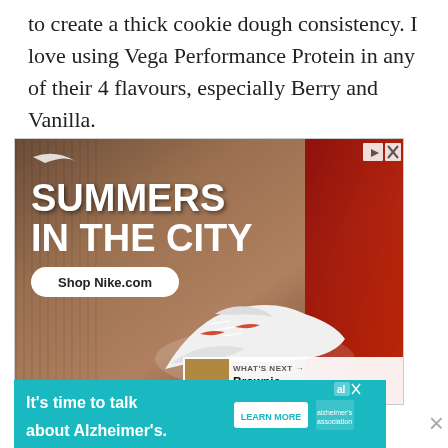to create a thick cookie dough consistency. I love using Vega Performance Protein in any of their 4 flavours, especially Berry and Vanilla.
[Figure (photo): Nike advertisement showing a white sneaker with red accents against an outdoor background, with text 'SUMMERS IN THE CITY' and a 'Shop Nike.com' button. Includes 'What's Next: Brownie Batter...' preview panel.]
[Figure (photo): Alzheimer's Association advertisement with teal background: 'It's time to talk about Alzheimer's.' with a Learn More button and association logo.]